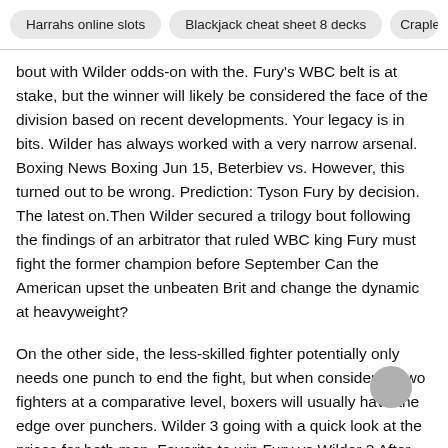Harrahs online slots   Blackjack cheat sheet 8 decks   Crapless cr
bout with Wilder odds-on with the. Fury's WBC belt is at stake, but the winner will likely be considered the face of the division based on recent developments. Your legacy is in bits. Wilder has always worked with a very narrow arsenal. Boxing News Boxing Jun 15, Beterbiev vs. However, this turned out to be wrong. Prediction: Tyson Fury by decision. The latest on.Then Wilder secured a trilogy bout following the findings of an arbitrator that ruled WBC king Fury must fight the former champion before September Can the American upset the unbeaten Brit and change the dynamic at heavyweight?
On the other side, the less-skilled fighter potentially only needs one punch to end the fight, but when considering two fighters at a comparative level, boxers will usually have the edge over punchers. Wilder 3 going with a quick look at the prices for both men. Favorite to win Fury vs Wilder 3 After Fury's dominant seventh-round TKO win over Wilder in